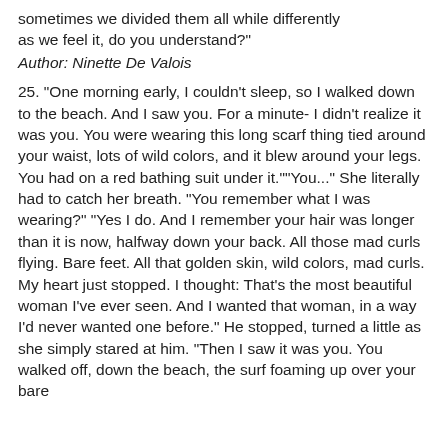...sometimes we divided them all while differently as we feel it, do you understand?"
Author: Ninette De Valois
25. "One morning early, I couldn't sleep, so I walked down to the beach. And I saw you. For a minute- I didn't realize it was you. You were wearing this long scarf thing tied around your waist, lots of wild colors, and it blew around your legs. You had on a red bathing suit under it.""You..." She literally had to catch her breath. "You remember what I was wearing?" "Yes I do. And I remember your hair was longer than it is now, halfway down your back. All those mad curls flying. Bare feet. All that golden skin, wild colors, mad curls. My heart just stopped. I thought: That's the most beautiful woman I've ever seen. And I wanted that woman, in a way I'd never wanted one before." He stopped, turned a little as she simply stared at him. "Then I saw it was you. You walked off, down the beach, the surf foaming up over your bare...